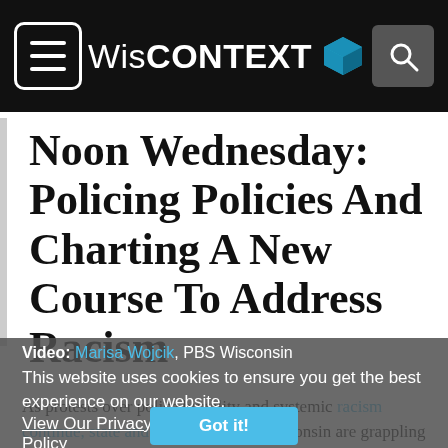WisCONTEXT
Noon Wednesday: Policing Policies And Charting A New Course To Address Racism
Video: Marisa Wojcik, PBS Wisconsin
This reporter worked on...
This website uses cookies to ensure you get the best experience on our website.
View Our Privacy Policy
Got it!
As protests over police brutality and systemic racism continue, state and local leaders in Wisconsin are grappling with how to address the needs of their own communities. Lt.